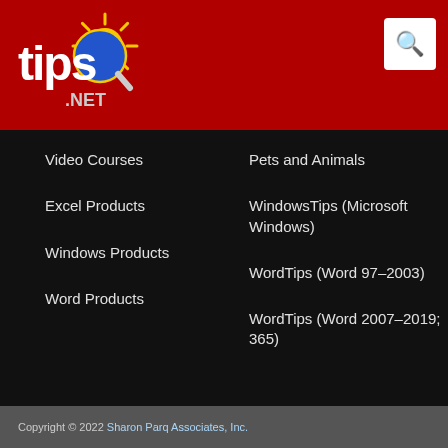[Figure (logo): tips.net logo with magnifying glass and sun rays on red background]
Video Courses
Excel Products
Windows Products
Word Products
Pets and Animals
WindowsTips (Microsoft Windows)
WordTips (Word 97–2003)
WordTips (Word 2007–2019; 365)
Copyright © 2022 Sharon Parq Associates, Inc.